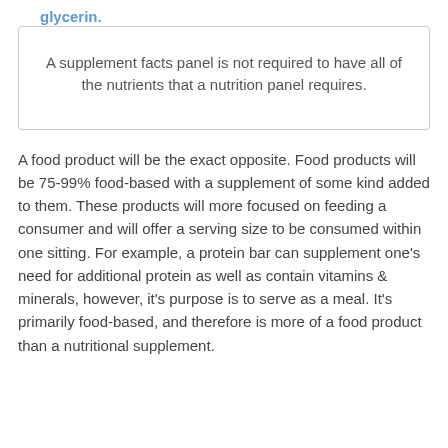glycerin.
A supplement facts panel is not required to have all of the nutrients that a nutrition panel requires.
A food product will be the exact opposite. Food products will be 75-99% food-based with a supplement of some kind added to them. These products will more focused on feeding a consumer and will offer a serving size to be consumed within one sitting. For example, a protein bar can supplement one's need for additional protein as well as contain vitamins & minerals, however, it's purpose is to serve as a meal. It's primarily food-based, and therefore is more of a food product than a nutritional supplement.